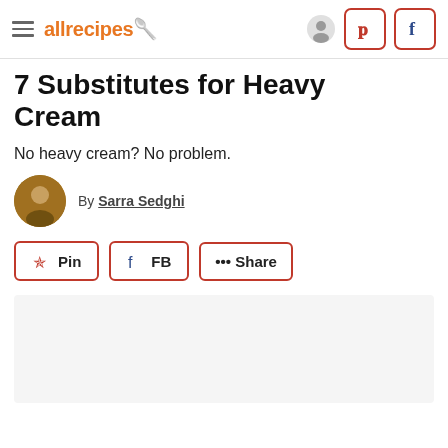allrecipes
7 Substitutes for Heavy Cream
No heavy cream? No problem.
By Sarra Sedghi
Pin  FB  ••• Share
[Figure (photo): Light gray image placeholder area]